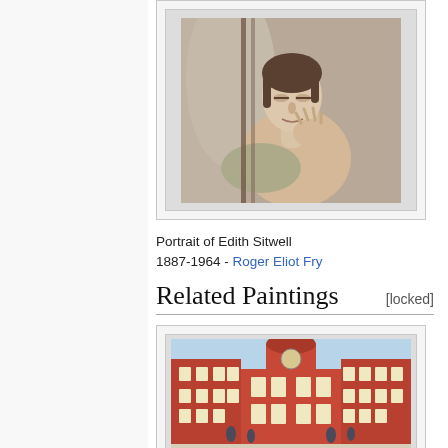[Figure (illustration): Portrait painting of a woman, 'Portrait of Edith Sitwell' by Roger Eliot Fry, 1887-1964. Painting shows a pale woman with dark hair, hand raised to face, draped fabric behind her, muted earthy tones.]
Portrait of Edith Sitwell 1887-1964 - Roger Eliot Fry
Related Paintings
[locked]
[Figure (illustration): Painting of a grand courtyard of a baroque or classical building, labeled 'The Royal Chelsea or Pensioners Court' or similar, showing a symmetrical facade with a central tower, red brick walls, people in the foreground.]